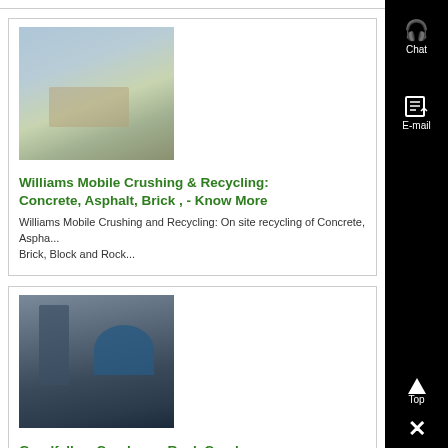[Figure (photo): Aerial photograph of an industrial/mining facility with buildings and open land]
Williams Mobile Crushing & Recycling: Concrete, Asphalt, Brick , - Know More
Williams Mobile Crushing and Recycling: On site recycling of Concrete, Aspha... Brick, Block and Rock...
[Figure (photo): Industrial rock crusher machinery with large silos and conveyors]
Goodfellow Crushers - Rock Crusher Professionals - Know More
Goodfellow Crushers serves the aggregate industry with rock crusher sales...f